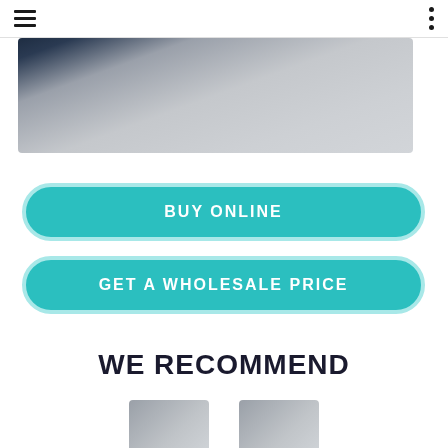Navigation bar with hamburger menu and dots menu
[Figure (photo): Close-up product image showing fabric/material in dark navy and light grey tones]
BUY ONLINE
GET A WHOLESALE PRICE
WE RECOMMEND
[Figure (photo): Two partially visible product thumbnail images at the bottom of the page]